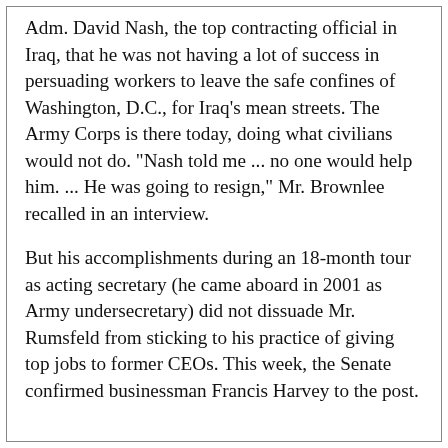Adm. David Nash, the top contracting official in Iraq, that he was not having a lot of success in persuading workers to leave the safe confines of Washington, D.C., for Iraq's mean streets. The Army Corps is there today, doing what civilians would not do. "Nash told me ... no one would help him. ... He was going to resign," Mr. Brownlee recalled in an interview.
But his accomplishments during an 18-month tour as acting secretary (he came aboard in 2001 as Army undersecretary) did not dissuade Mr. Rumsfeld from sticking to his practice of giving top jobs to former CEOs. This week, the Senate confirmed businessman Francis Harvey to the post.